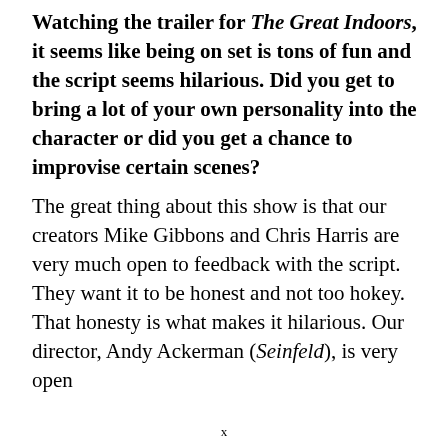Watching the trailer for The Great Indoors, it seems like being on set is tons of fun and the script seems hilarious. Did you get to bring a lot of your own personality into the character or did you get a chance to improvise certain scenes?
The great thing about this show is that our creators Mike Gibbons and Chris Harris are very much open to feedback with the script. They want it to be honest and not too hokey. That honesty is what makes it hilarious. Our director, Andy Ackerman (Seinfeld), is very open
x